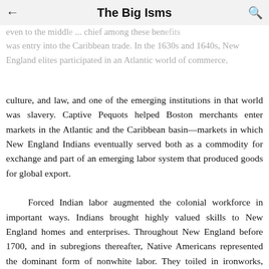The Big Isms
even to the middle... chief among these benefits was entry into the Caribbean trade. In the 1630s and 1640s, New England elites participated in an Atlantic world of commerce,
culture, and law, and one of the emerging institutions in that world was slavery. Captive Pequots helped Boston merchants enter markets in the Atlantic and the Caribbean basin—markets in which New England Indians eventually served both as a commodity for exchange and part of an emerging labor system that produced goods for global export.
    Forced Indian labor augmented the colonial workforce in important ways. Indians brought highly valued skills to New England homes and enterprises. Throughout New England before 1700, and in subregions thereafter, Native Americans represented the dominant form of nonwhite labor. They toiled in ironworks, fisheries, livestock raising, extensive agriculture, provincial armies, and other enterprises that required unusually
Google Books   Buy this book ▲   More about th